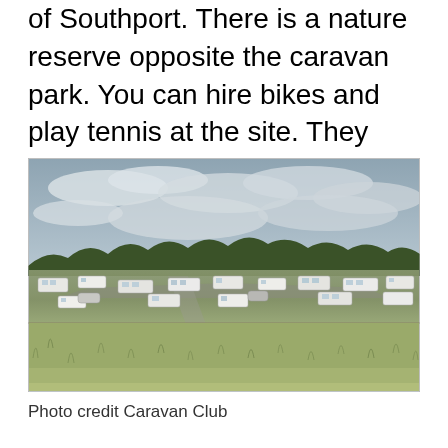of Southport. There is a nature reserve opposite the caravan park. You can hire bikes and play tennis at the site. They have touring and camping pitches all at a very reasonable.
[Figure (photo): Outdoor photo of a caravan park with multiple caravans and motorhomes parked on a large flat site, with trees in the background and an overcast sky. Foreground shows wild grass.]
Photo credit Caravan Club